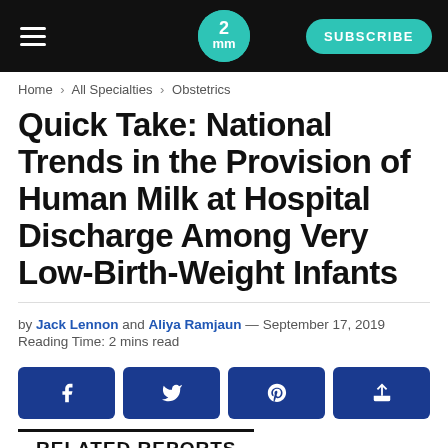2mm | SUBSCRIBE
Home > All Specialties > Obstetrics
Quick Take: National Trends in the Provision of Human Milk at Hospital Discharge Among Very Low-Birth-Weight Infants
by Jack Lennon and Aliya Ramjaun — September 17, 2019
Reading Time: 2 mins read
RELATED REPORTS